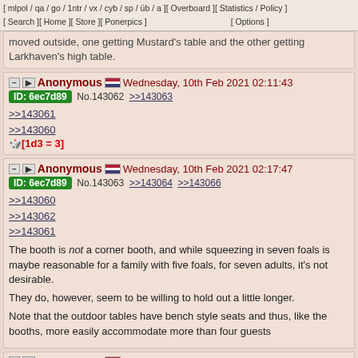[ mlpol / qa / go / 1ntr / vx / cyb / sp / üb / a ][ Overboard ][ Statistics / Policy ] [ Search ][ Home ][ Store ][ Ponerpics ] [ Options ]
moved outside, one getting Mustard's table and the other getting Larkhaven's high table.
Anonymous Wednesday, 10th Feb 2021 02:11:43 ID: 6ec7d89 No.143062 >>143063
>>143061
>>143060
🎲[1d3 = 3]
Anonymous Wednesday, 10th Feb 2021 02:17:47 ID: 6ec7d89 No.143063 >>143064 >>143066
>>143060
>>143062
>>143061
The booth is not a corner booth, and while squeezing in seven foals is maybe reasonable for a family with five foals, for seven adults, it's not desirable.

They do, however, seem to be willing to hold out a little longer.

Note that the outdoor tables have bench style seats and thus, like the booths, more easily accommodate more than four guests
Anonymous Wednesday, 10th Feb 2021 02:18:26 ID: 6ec7d89 No.143064 >>143065
>>143063